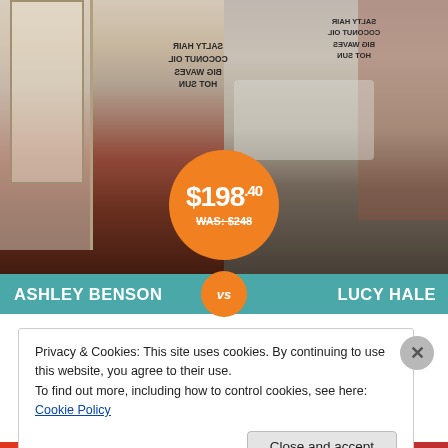[Figure (photo): Side-by-side comparison photo of Ashley Benson (left, wearing a white graphic tee with mirrored text and rust/leopard print leggings with black Converse sneakers) versus Lucy Hale (right, wearing a white graphic sweatshirt and denim shorts with teal sneakers). An orange circular price badge overlays the center showing $198.40 (WAS: $248). A teal banner at the bottom labels 'ASHLEY BENSON VS LUCY HALE' with an orange VS circle in the middle.]
Privacy & Cookies: This site uses cookies. By continuing to use this website, you agree to their use.
To find out more, including how to control cookies, see here: Cookie Policy